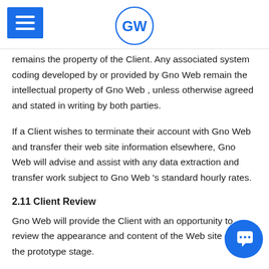GW logo and hamburger menu
remains the property of the Client. Any associated system coding developed by or provided by Gno Web remain the intellectual property of Gno Web , unless otherwise agreed and stated in writing by both parties.
If a Client wishes to terminate their account with Gno Web and transfer their web site information elsewhere, Gno Web will advise and assist with any data extraction and transfer work subject to Gno Web 's standard hourly rates.
2.11 Client Review
Gno Web will provide the Client with an opportunity to review the appearance and content of the Web site during the prototype stage.
The Client agrees to allow Gno Web to place a small credit